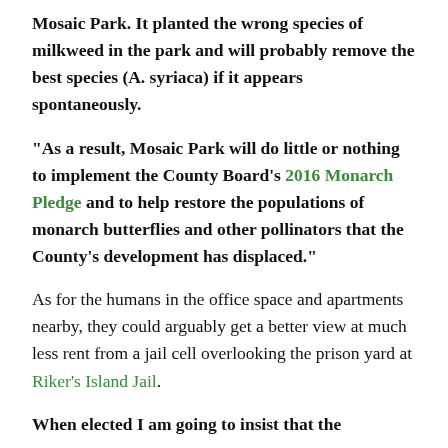Mosaic Park. It planted the wrong species of milkweed in the park and will probably remove the best species (A. syriaca) if it appears spontaneously.
“As a result, Mosaic Park will do little or nothing to implement the County Board’s 2016 Monarch Pledge and to help restore the populations of monarch butterflies and other pollinators that the County’s development has displaced.”
As for the humans in the office space and apartments nearby, they could arguably get a better view at much less rent from a jail cell overlooking the prison yard at Riker’s Island Jail.
When elected I am going to insist that the